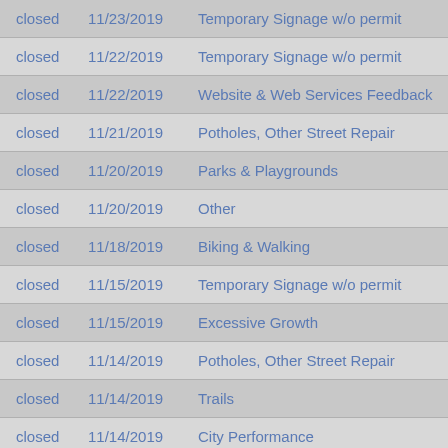| Status | Date | Category |
| --- | --- | --- |
| closed | 11/23/2019 | Temporary Signage w/o permit |
| closed | 11/22/2019 | Temporary Signage w/o permit |
| closed | 11/22/2019 | Website & Web Services Feedback |
| closed | 11/21/2019 | Potholes, Other Street Repair |
| closed | 11/20/2019 | Parks & Playgrounds |
| closed | 11/20/2019 | Other |
| closed | 11/18/2019 | Biking & Walking |
| closed | 11/15/2019 | Temporary Signage w/o permit |
| closed | 11/15/2019 | Excessive Growth |
| closed | 11/14/2019 | Potholes, Other Street Repair |
| closed | 11/14/2019 | Trails |
| closed | 11/14/2019 | City Performance |